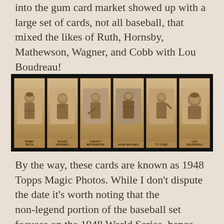into the gum card market showed up with a large set of cards, not all baseball, that mixed the likes of Ruth, Hornsby, Mathewson, Wagner, and Cobb with Lou Boudreau!
[Figure (photo): Six sepia-toned vintage baseball cards displayed in a row against a black background, showing Babe Ruth, Roger Hornsby, Christy Mathewson, Hans Wagner, Ty Cobb, and Lou Boudreau]
By the way, these cards are known as 1948 Topps Magic Photos. While I don’t dispute the date it’s worth noting that the non-legend portion of the baseball set focuses on the 1948 World Series, hence the Boudreau, which of course didn’t occur until October. As such, it wouldn’t shock me if much like the Leaf set